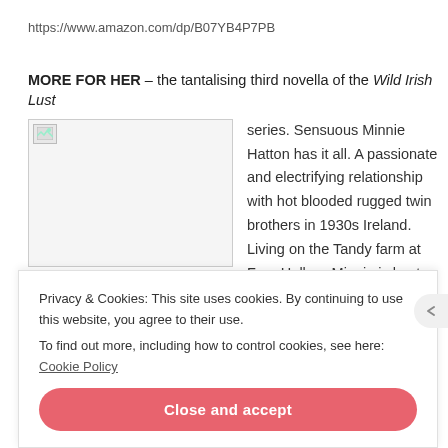https://www.amazon.com/dp/B07YB4P7PB
MORE FOR HER – the tantalising third novella of the Wild Irish Lust series. Sensuous Minnie Hatton has it all. A passionate and electrifying relationship with hot blooded rugged twin brothers in 1930s Ireland. Living on the Tandy farm at Fern Hollow, Minnie is kept sexually and emotionally satisfied with both
[Figure (photo): Book cover image placeholder (broken image icon)]
Privacy & Cookies: This site uses cookies. By continuing to use this website, you agree to their use.
To find out more, including how to control cookies, see here: Cookie Policy
Close and accept